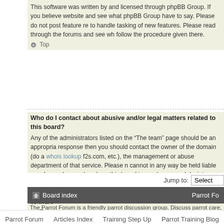This software was written by and licensed through phpBB Group. If you believe website and see what phpBB Group have to say. Please do not post feature re to handle tasking of new features. Please read through the forums and see wh follow the procedure given there.
Top
Who do I contact about abusive and/or legal matters related to this board?
Any of the administrators listed on the "The team" page should be an appropria response then you should contact the owner of the domain (do a whois lookup f2s.com, etc.), the management or abuse department of that service. Please n cannot in any way be held liable over how, where or by whom this board is use (cease and desist, liable, defamatory comment, etc.) matter not directly relate itself. If you do e-mail phpBB Group about any third party use of this software
Top
Jump to:   Select
Board index   Parrot Fo
The Parrot Forum is a friendly parrot discussion group. Discuss parrot care, Parakeet, Parrotlet, Lovebird, Cockatiel, Conure, Senegal, Poicephalus, A Parrot Message Boards and Discussion Group online for free. Forum ab
Parrot Forum   Articles Index   Training Step Up   Parrot Training Blog